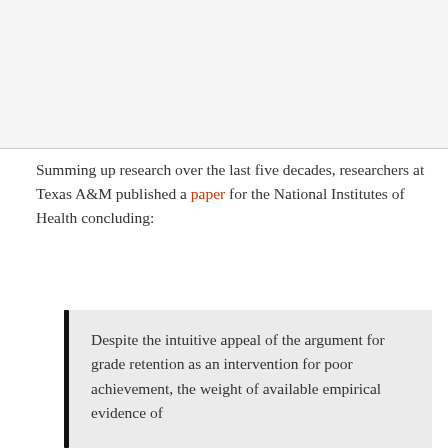Summing up research over the last five decades, researchers at Texas A&M published a paper for the National Institutes of Health concluding:
Despite the intuitive appeal of the argument for grade retention as an intervention for poor achievement, the weight of available empirical evidence of